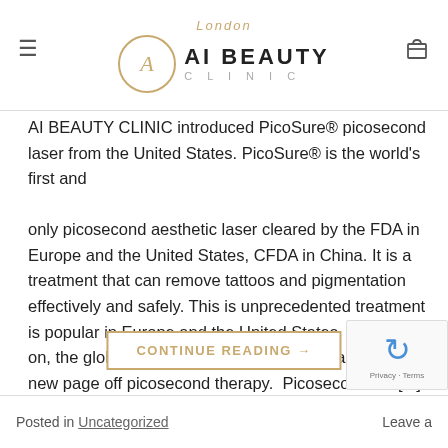London AI BEAUTY CLINIC
AI BEAUTY CLINIC introduced PicoSure® picosecond laser from the United States. PicoSure® is the world's first and only picosecond aesthetic laser cleared by the FDA in Europe and the United States, CFDA in China. It is a treatment that can remove tattoos and pigmentation effectively and safely. This is unprecedented treatment is popular in Europe and the United States. From then on, the global medical aesthetics market has entered a new page off picosecond therapy.  Picosecond vs. [...]
CONTINUE READING →
Posted in Uncategorized   Leave a comment